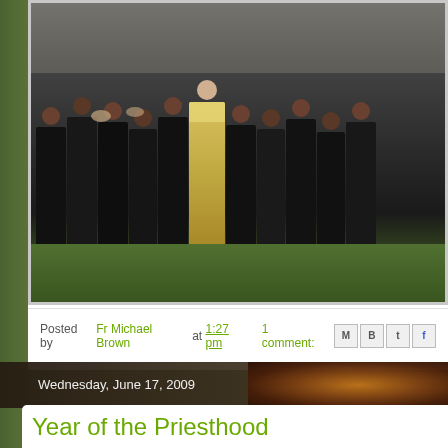[Figure (photo): Group photo of monks or priests in dark robes and one bishop in golden vestments, standing outdoors near a stone wall]
Posted by Fr Michael Brown at 1:27 pm    1 comment:
Wednesday, June 17, 2009
Year of the Priesthood
As we all now know the Year for the Priesthood starts this Friday, the Fe weekend our bishop has sent a pastoral letter to alert the diocese to this a Mass at the cathedral on July 7th at 7pm to mark its opening. Unfortu as I have a prior commitment.
That day, at 12.05pm, also sees the bishop at my old parish of St Jose the 150th anniversary of the church. I`m glad to say I will be able to mak